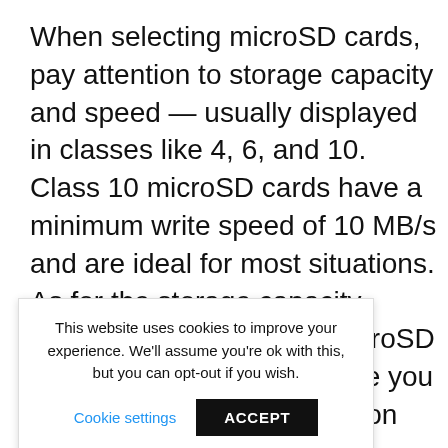When selecting microSD cards, pay attention to storage capacity and speed — usually displayed in classes like 4, 6, and 10. Class 10 microSD cards have a minimum write speed of 10 MB/s and are ideal for most situations. As for the storage capacity, there are 32 GB to 1TB microSD cards available, and the one you choose will largely depend on your budget.
[Figure (screenshot): Cookie consent banner with text 'This website uses cookies to improve your experience. We'll assume you're ok with this, but you can opt-out if you wish.' and two buttons: 'Cookie settings' (blue text) and 'ACCEPT' (white text on black background).]
an make it ving too can quickly drain power. In these cases, having a portable